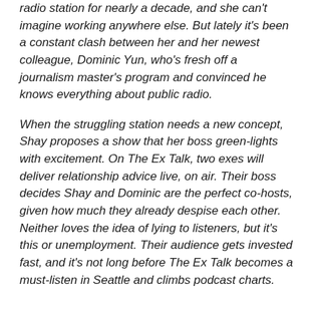radio station for nearly a decade, and she can't imagine working anywhere else. But lately it's been a constant clash between her and her newest colleague, Dominic Yun, who's fresh off a journalism master's program and convinced he knows everything about public radio.
When the struggling station needs a new concept, Shay proposes a show that her boss green-lights with excitement. On The Ex Talk, two exes will deliver relationship advice live, on air. Their boss decides Shay and Dominic are the perfect co-hosts, given how much they already despise each other. Neither loves the idea of lying to listeners, but it's this or unemployment. Their audience gets invested fast, and it's not long before The Ex Talk becomes a must-listen in Seattle and climbs podcast charts.